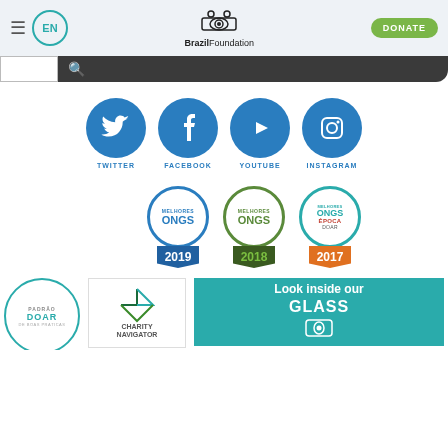[Figure (screenshot): BrazilFoundation website header with hamburger menu, EN language selector, BrazilFoundation logo, and DONATE button]
[Figure (screenshot): Dark search bar with search icon]
[Figure (infographic): Social media icons: Twitter, Facebook, YouTube, Instagram with labels]
[Figure (infographic): Award badges: Melhores ONGs 2019, 2018, 2017 (Época/Doar)]
[Figure (infographic): Bottom badges: Padrão Doar, Charity Navigator, and Look inside our GLASS banner]